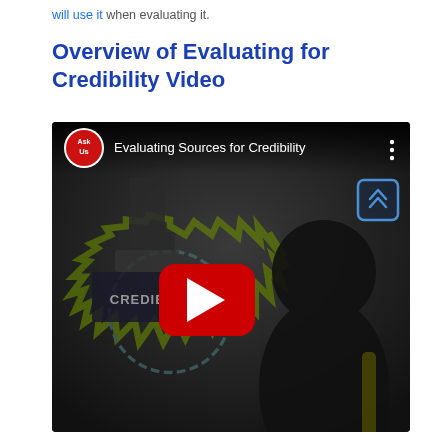will use it when evaluating it.
Overview of Evaluating for Credibility Video
[Figure (screenshot): YouTube video thumbnail for 'Evaluating Sources for Credibility' with Ask Us logo, a dark background showing a credible stamp icon and a person silhouette, and a red YouTube play button in the center. A blue scroll-up button is overlaid on the right side.]